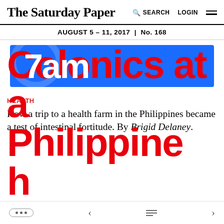The Saturday Paper | SEARCH LOGIN
AUGUST 5 – 11, 2017 | No. 168
[Figure (logo): 7am podcast advertisement banner in blue with white bold text reading '7am']
HEALTH
How a trip to a health farm in the Philippines became a test of intestinal fortitude. By Brigid Delaney.
Colonics at a Philippines health...